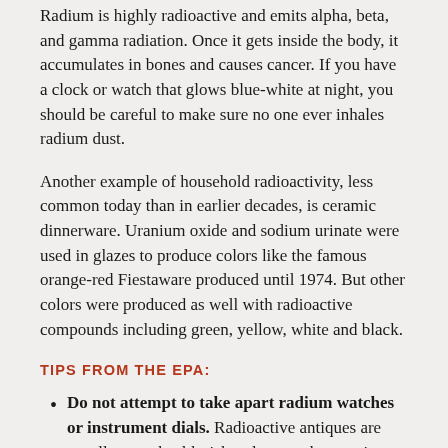Radium is highly radioactive and emits alpha, beta, and gamma radiation. Once it gets inside the body, it accumulates in bones and causes cancer. If you have a clock or watch that glows blue-white at night, you should be careful to make sure no one ever inhales radium dust.
Another example of household radioactivity, less common today than in earlier decades, is ceramic dinnerware. Uranium oxide and sodium urinate were used in glazes to produce colors like the famous orange-red Fiestaware produced until 1974. But other colors were produced as well with radioactive compounds including green, yellow, white and black.
TIPS FROM THE EPA:
Do not attempt to take apart radium watches or instrument dials. Radioactive antiques are usually not a health risk as long as they are intact and in good condition.
Do not use ceramics like antique orange-red Fiestaware